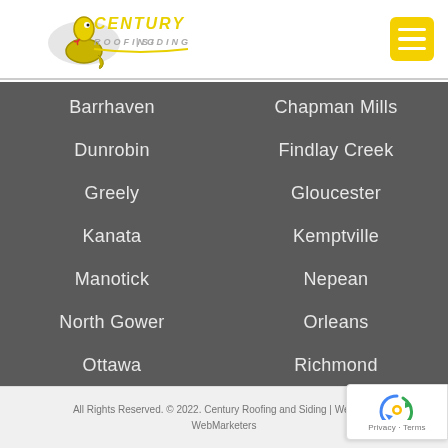[Figure (logo): Century Roofing and Siding logo with a snake mascot in yellow and gray]
[Figure (other): Yellow hamburger menu button with three white horizontal lines]
Barrhaven
Chapman Mills
Dunrobin
Findlay Creek
Greely
Gloucester
Kanata
Kemptville
Manotick
Nepean
North Gower
Orleans
Ottawa
Richmond
Riverside South
Stittsville
All Rights Reserved. © 2022. Century Roofing and Siding | Web Design by WebMarketers